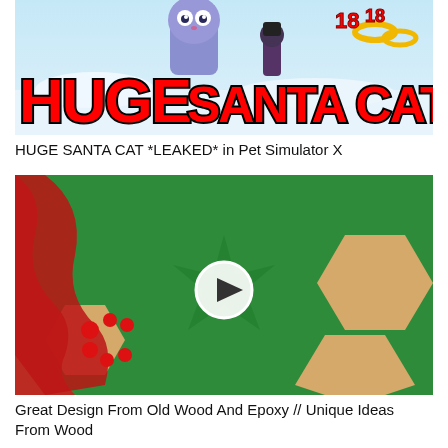[Figure (screenshot): Thumbnail image for YouTube video 'HUGE SANTA CAT *LEAKED* in Pet Simulator X' showing a cartoon cat in a winter scene with large red bold text reading 'HUGE SANTA CAT']
HUGE SANTA CAT *LEAKED* in Pet Simulator X
[Figure (screenshot): Video thumbnail showing a close-up of wood and green epoxy resin craft project with red resin drips and a play button overlay]
Great Design From Old Wood And Epoxy // Unique Ideas From Wood